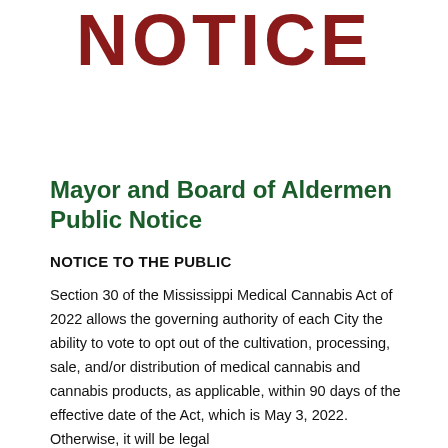NOTICE
Mayor and Board of Aldermen Public Notice
NOTICE TO THE PUBLIC
Section 30 of the Mississippi Medical Cannabis Act of 2022 allows the governing authority of each City the ability to vote to opt out of the cultivation, processing, sale, and/or distribution of medical cannabis and cannabis products, as applicable, within 90 days of the effective date of the Act, which is May 3, 2022. Otherwise, it will be legal